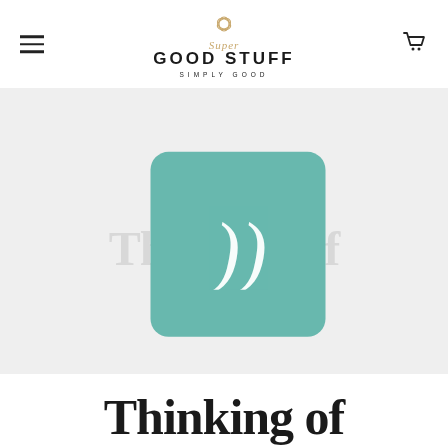Super Good Stuff – Simply Good
[Figure (screenshot): Hero image area showing a teal/green rounded square overlay with a white play button icon (parenthesis style), overlaid on a light gray background with faint large text visible behind]
← Back to Blog
Thinking of